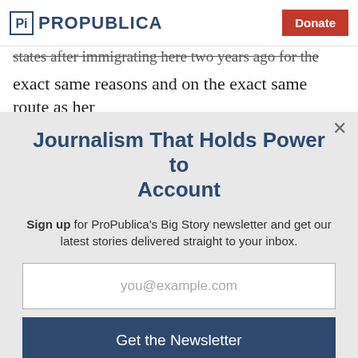ProPublica | Donate
states after immigrating here two years ago for the exact same reasons and on the exact same route as her
Journalism That Holds Power to Account
Sign up for ProPublica's Big Story newsletter and get our latest stories delivered straight to your inbox.
you@example.com
Get the Newsletter
No thanks, I'm all set
This site is protected by reCAPTCHA and the Google Privacy Policy and Terms of Service apply.